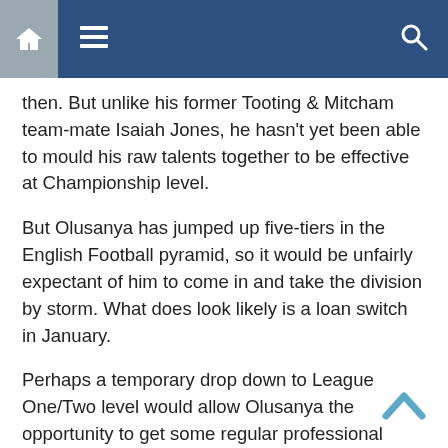[Navigation bar with home, menu, and search icons]
then. But unlike his former Tooting & Mitcham team-mate Isaiah Jones, he hasn't yet been able to mould his raw talents together to be effective at Championship level.
But Olusanya has jumped up five-tiers in the English Football pyramid, so it would be unfairly expectant of him to come in and take the division by storm. What does look likely is a loan switch in January.
Perhaps a temporary drop down to League One/Two level would allow Olusanya the opportunity to get some regular professional minutes under his belt, and would also allow the Middlesbrough coaching staff to gauge the level of his current ability.